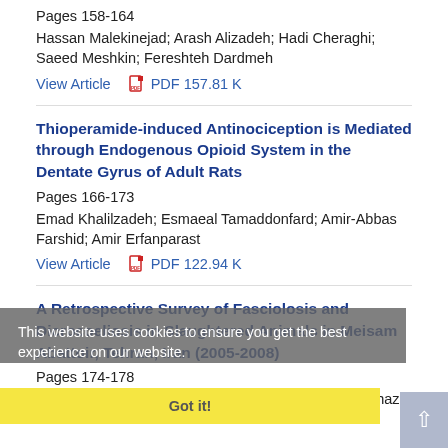Pages 158-164
Hassan Malekinejad; Arash Alizadeh; Hadi Cheraghi; Saeed Meshkin; Fereshteh Dardmeh
View Article   PDF 157.81 K
Thioperamide-induced Antinociception is Mediated through Endogenous Opioid System in the Dentate Gyrus of Adult Rats
Pages 166-173
Emad Khalilzadeh; Esmaeal Tamaddonfard; Amir-Abbas Farshid; Amir Erfanparast
View Article   PDF 122.94 K
A Retrospective Survey of Fasciolosis and Dicrocoeliosis in Slaughtered Animals in Meisam Abattoir, Tehran, Iran (2005-2008)
Pages 174-178
Ali Khanjari; Razieh Partovi; Sepideh Abbaszadeh; Ghazal
This website uses cookies to ensure you get the best experience on our website.
Got it!